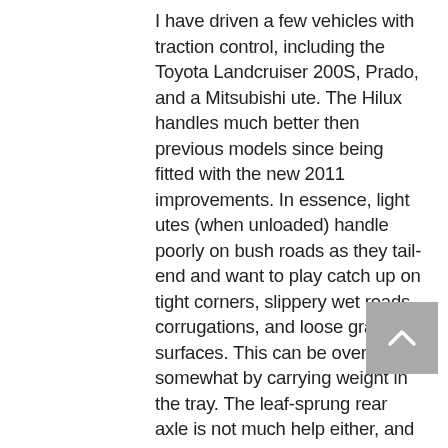I have driven a few vehicles with traction control, including the Toyota Landcruiser 200S, Prado, and a Mitsubishi ute. The Hilux handles much better then previous models since being fitted with the new 2011 improvements. In essence, light utes (when unloaded) handle poorly on bush roads as they tail-end and want to play catch up on tight corners, slippery wet roads, corrugations, and loose gravely surfaces. This can be overcome somewhat by carrying weight in the tray. The leaf-sprung rear axle is not much help either, and is very much a hindrance when it comes to road handling.
Traction is quickly lost when driving in such conditions. Steep, slippery/gravelly